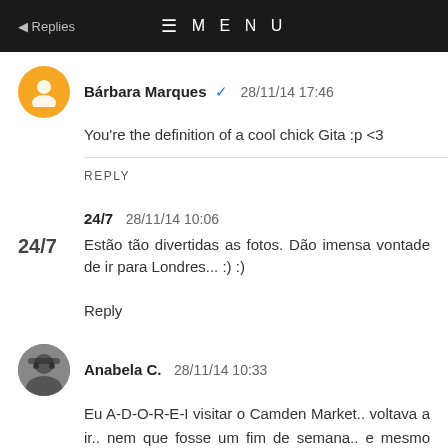Replies   ≡ MENU
Bárbara Marques ✔ 28/11/14 17:46
You're the definition of a cool chick Gita :p <3
REPLY
24/7 28/11/14 10:06
Estão tão divertidas as fotos. Dão imensa vontade de ir para Londres... :) :)
Reply
Anabela C. 28/11/14 10:33
Eu A-D-O-R-E-I visitar o Camden Market.. voltava a ir.. nem que fosse um fim de semana.. e mesmo assim não conseguia ver tudo!!!
xoxox
http://slebonpo.blogspot.com